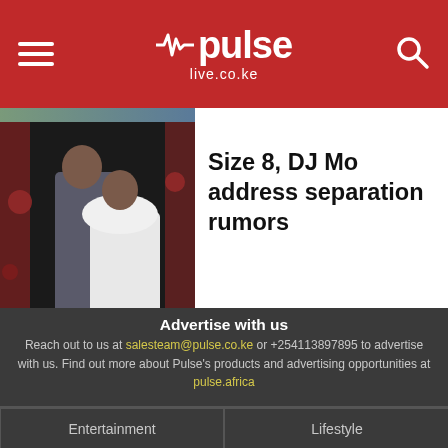pulse live.co.ke
[Figure (photo): Photo of a couple, man in grey suit and woman in white ruffled dress, posing together indoors with red decor background]
Size 8, DJ Mo address separation rumors
Advertise with us
Reach out to us at salesteam@pulse.co.ke or +254113897895 to advertise with us. Find out more about Pulse's products and advertising opportunities at pulse.africa
Entertainment
Lifestyle
Sports
Business